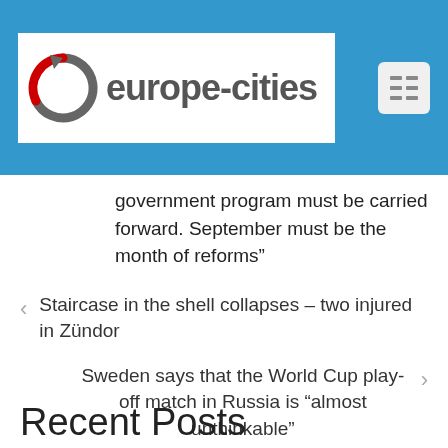[Figure (logo): europe-cities website logo with circular arrow icon in grey and red, white background]
government program must be carried forward. September must be the month of reforms”
‹  Staircase in the shell collapses – two injured in Zündor
Sweden says that the World Cup play-off match in Russia is “almost unthinkable”  ›
Recent Posts